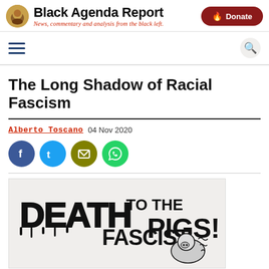Black Agenda Report — News, commentary and analysis from the black left.
The Long Shadow of Racial Fascism
Alberto Toscano  04 Nov 2020
[Figure (illustration): Black and white protest illustration with bold hand-lettered text reading 'DEATH TO THE FASCIST PIGS!' with a cartoon pig figure.]